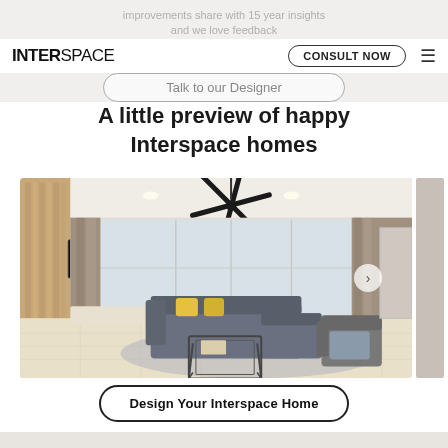improvements share with 15 year insights and we love feedback
[Figure (screenshot): Navigation bar with INTERSPACE logo, CONSULT NOW button, hamburger menu, and Talk to our Designer pill button]
A little preview of happy Interspace homes
[Figure (photo): Interior photo of a modern living room with grey L-shaped sofa with yellow cushions, ceiling fan, floor-to-ceiling curtains, TV wall panel, and a glass coffee table on a grey rug]
Design Your Interspace Home